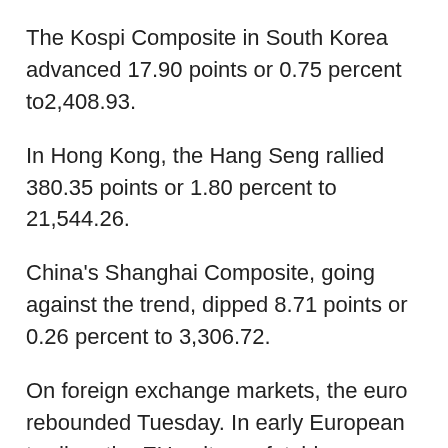The Kospi Composite in South Korea advanced 17.90 points or 0.75 percent to2,408.93.
In Hong Kong, the Hang Seng rallied 380.35 points or 1.80 percent to 21,544.26.
China's Shanghai Composite, going against the trend, dipped 8.71 points or 0.26 percent to 3,306.72.
On foreign exchange markets, the euro rebounded Tuesday. In early European trading, the EU unit was fetching 1.0556. The British pound edged up to 1.2297.